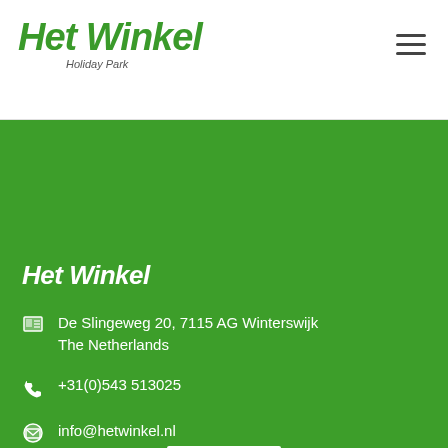[Figure (logo): Het Winkel Holiday Park logo - green italic bold text on white header bar]
[Figure (logo): Het Winkel logo in white italic bold text on green background]
De Slingeweg 20, 7115 AG Winterswijk
The Netherlands
+31(0)543 513025
info@hetwinkel.nl
[Figure (logo): Zoover vakantiebeoordelingen badge - white rectangle with orange italic zoover text and small subtitle]
Home
Privacy Statement
Cookie statement
Disclaimer